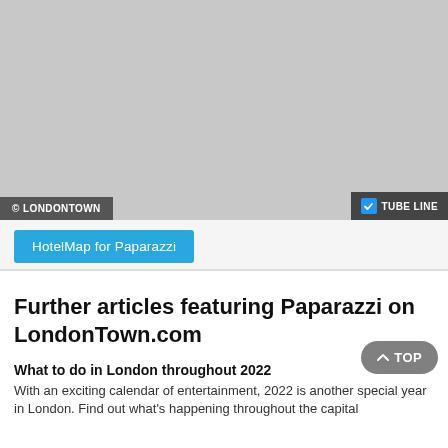[Figure (map): Gray placeholder map area showing London map with © LONDONTOWN watermark and TUBE LINE toggle]
© LONDONTOWN
✔ TUBE LINE
HotelMap for Paparazzi
Further articles featuring Paparazzi on LondonTown.com
What to do in London throughout 2022
With an exciting calendar of entertainment, 2022 is another special year in London. Find out what's happening throughout the capital